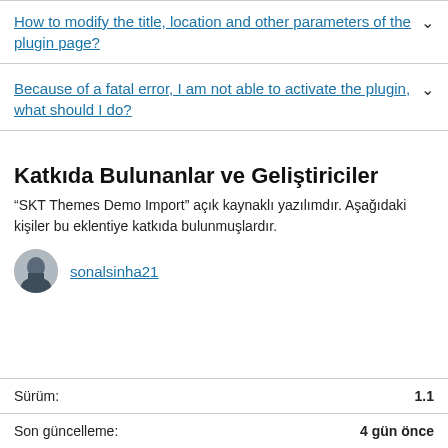How to modify the title, location and other parameters of the plugin page?
Because of a fatal error, I am not able to activate the plugin, what should I do?
Katkıda Bulunanlar ve Geliştiriciler
“SKT Themes Demo Import” açık kaynaklı yazılımdır. Aşağıdaki kişiler bu eklentiye katkıda bulunmuşlardır.
sonalsinha21
|  |  |
| --- | --- |
| Sürüm: | 1.1 |
| Son güncelleme: | 4 gün önce |